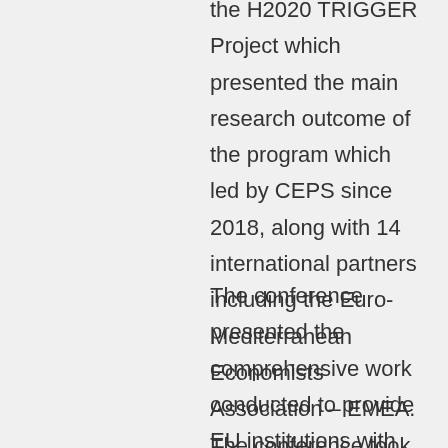the H2020 TRIGGER Project which presented the main research outcome of the program which led by CEPS since 2018, along with 14 international partners including the Euro-Mediterranean Economists Association – EMEA. The conference took place at CEPS offices on 31.05.2022.
The conference presented the comprehensive work conducted to provide EU institutions with better knowledge and tools to enhance their actorness, effectiveness and influence in global governance, and to develop